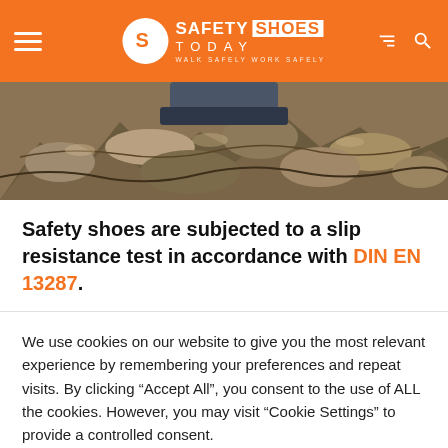Safety Shoes Today — WALK SAFELY WORK SAFELY
[Figure (photo): Close-up photo of a safety boot/shoe on rocky terrain, showing the sole and lower part of the boot on rugged stones.]
Safety shoes are subjected to a slip resistance test in accordance with DIN EN 13287.
We use cookies on our website to give you the most relevant experience by remembering your preferences and repeat visits. By clicking "Accept All", you consent to the use of ALL the cookies. However, you may visit "Cookie Settings" to provide a controlled consent.